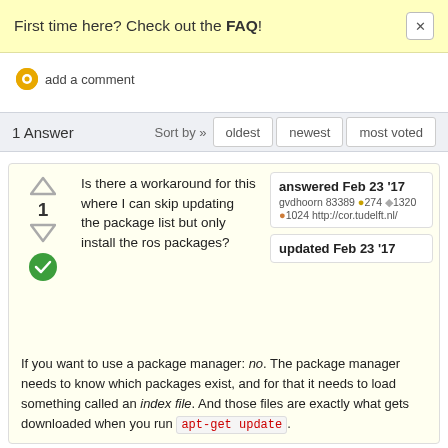First time here? Check out the FAQ!
add a comment
1 Answer   Sort by » oldest   newest   most voted
Is there a workaround for this where I can skip updating the package list but only install the ros packages?
answered Feb 23 '17
gvdhoorn 83389 ●274 ◆1320 ●1024 http://cor.tudelft.nl/
updated Feb 23 '17
If you want to use a package manager: no. The package manager needs to know which packages exist, and for that it needs to load something called an index file. And those files are exactly what gets downloaded when you run apt-get update.
Furthermore: